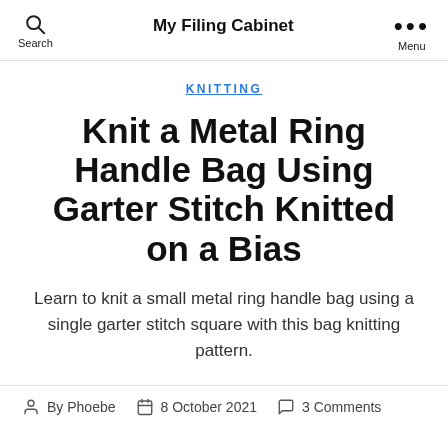My Filing Cabinet
KNITTING
Knit a Metal Ring Handle Bag Using Garter Stitch Knitted on a Bias
Learn to knit a small metal ring handle bag using a single garter stitch square with this bag knitting pattern.
By Phoebe   8 October 2021   3 Comments